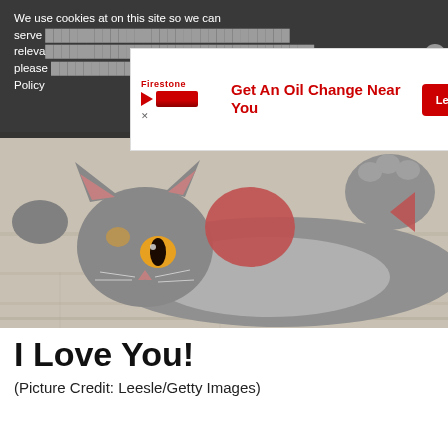We use cookies at on this site so we can serve you relevant ads and content. To continue, please click 'Accept Cookies' or read our Cookie Information Policy
[Figure (screenshot): Advertisement overlay for Firestone oil change service with red 'Learn More' button]
[Figure (photo): Grey British Shorthair cat lying on its back on a wooden floor, holding a red heart-shaped object with bright orange eyes looking upward]
I Love You!
(Picture Credit: Leesle/Getty Images)